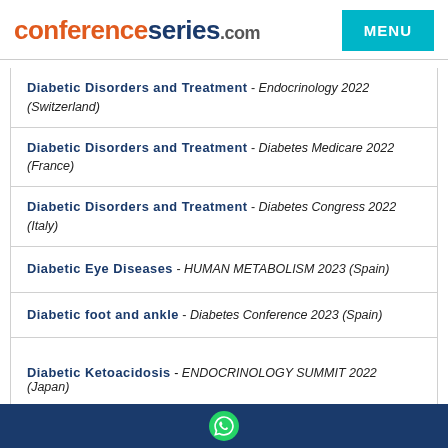conferenceseries.com  MENU
Diabetic Disorders and Treatment - Endocrinology 2022 (Switzerland)
Diabetic Disorders and Treatment - Diabetes Medicare 2022 (France)
Diabetic Disorders and Treatment - Diabetes Congress 2022 (Italy)
Diabetic Eye Diseases - HUMAN METABOLISM 2023 (Spain)
Diabetic foot and ankle - Diabetes Conference 2023 (Spain)
Diabetic Foot Problems - Endocrine Conference 2022 (Italy)
Diabetic Hepatopathy - Diabetes 2022 (Netherlands)
Diabetic Ketoacidosis - ENDOCRINOLOGY SUMMIT 2022 (Japan)
WhatsApp contact button